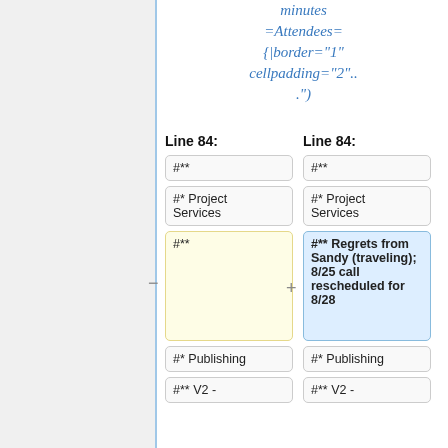minutes =Attendees= {|border="1" cellpadding="2"...")
Line 84:
Line 84:
#**
#**
#* Project Services
#* Project Services
#**
#** Regrets from Sandy (traveling); 8/25 call rescheduled for 8/28
#* Publishing
#* Publishing
#** V2 -
#** V2 -